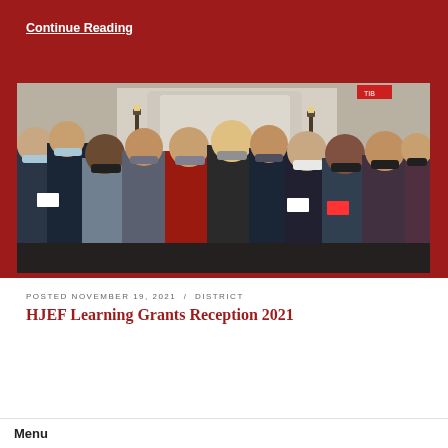Continue Reading
[Figure (photo): Group of people wearing masks standing together indoors at a reception event, with pumpkins and candles visible in the background]
POSTED NOVEMBER 19, 2021 / DISTRICT
HJEF Learning Grants Reception 2021
Menu